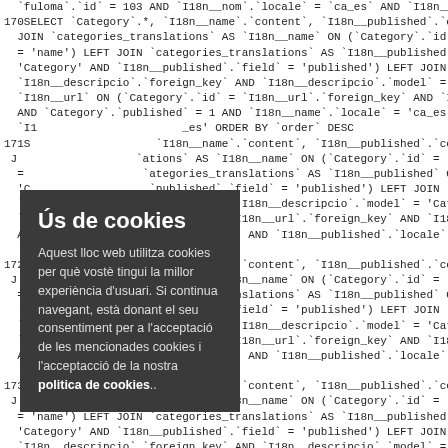SQL query code lines visible behind cookie overlay — lines 170, 171, 172, 173 SELECT Category.*, I18n__name.content, I18n__published.content, I18n__des JOIN categories_translations AS I18n__name ON (Category.id = I18n__name.fo = 'name') LEFT JOIN categories_translations AS I18n__published ON (Category.id 'Category' AND I18n__published.field = 'published') LEFT JOIN categories_translatio I18n__descripcio.foreign_key AND I18n__descripcio.model = 'Category' AND I18n I18n__url ON (Category.id = I18n__url.foreign_key AND I18n__url.model = 'Ca AND Category.published = 1 AND I18n__name.locale = 'ca_es' AND I18n__publis _es' ORDER BY order DESC repeated for 171S, 172S, 173S blocks
Ús de cookies
Aquest lloc web utilitza cookies per què vostè tingui la millor experiència d'usuari. Si continua navegant, està donant el seu consentiment per a l'acceptació de les mencionades cookies i l'acceptacció de la nostra politica de cookies..